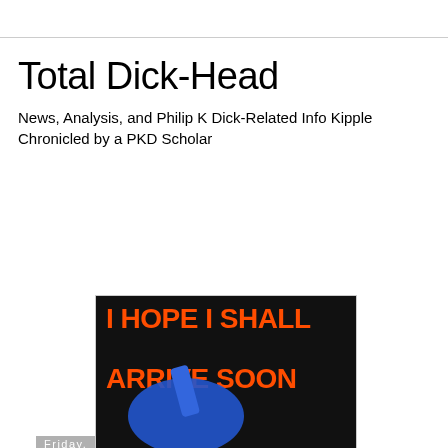Total Dick-Head
News, Analysis, and Philip K Dick-Related Info Kipple Chronicled by a PKD Scholar
Friday, April 16, 2010
Back in the Future
[Figure (photo): Book cover of 'I Hope I Shall Arrive Soon' — black background with large orange bold text reading 'I HOPE I SHALL ARRIVE SOON' and a blue abstract shape at the bottom]